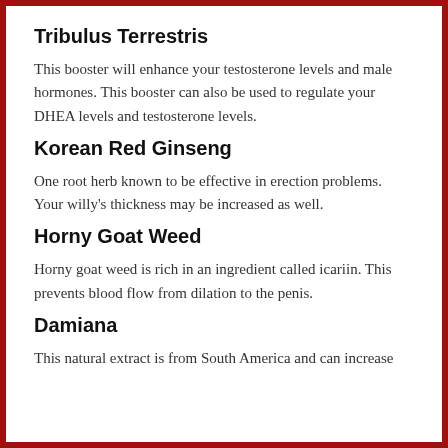Tribulus Terrestris
This booster will enhance your testosterone levels and male hormones. This booster can also be used to regulate your DHEA levels and testosterone levels.
Korean Red Ginseng
One root herb known to be effective in erection problems. Your willy's thickness may be increased as well.
Horny Goat Weed
Horny goat weed is rich in an ingredient called icariin. This prevents blood flow from dilation to the penis.
Damiana
This natural extract is from South America and can increase